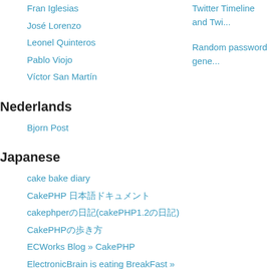Fran Iglesias
José Lorenzo
Leonel Quinteros
Pablo Viojo
Víctor San Martín
Nederlands
Bjorn Post
Japanese
cake bake diary
CakePHP 日本語ドキュメント
cakephperの日記(cakePHP1.2の日記)
CakePHPの歩き方
ECWorks Blog » CakePHP
ElectronicBrain is eating BreakFast » CakePHP
HappyQuality » CakePHP
kaz_29@日記
Twitter Timeline and Twi...
Random password gene...